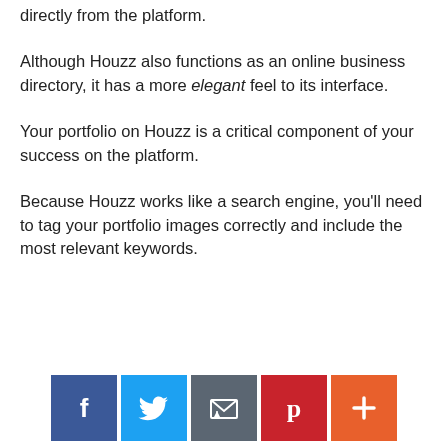directly from the platform.
Although Houzz also functions as an online business directory, it has a more elegant feel to its interface.
Your portfolio on Houzz is a critical component of your success on the platform.
Because Houzz works like a search engine, you'll need to tag your portfolio images correctly and include the most relevant keywords.
[Figure (infographic): Social sharing bar with five buttons: Facebook (blue), Twitter (light blue), Email (dark gray), Pinterest (red), and More/Plus (orange-red)]